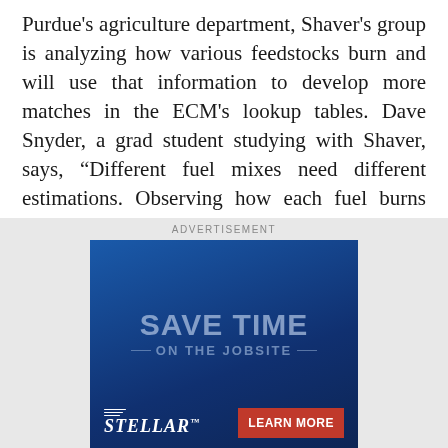Purdue's agriculture department, Shaver's group is analyzing how various feedstocks burn and will use that information to develop more matches in the ECM's lookup tables. Dave Snyder, a grad student studying with Shaver, says, “Different fuel mixes need different estimations. Observing how each fuel burns will help us develop new ECM software.”
[Figure (other): Advertisement banner with blue background reading 'SAVE TIME ON THE JOBSITE' with Stellar logo and Learn More button in red]